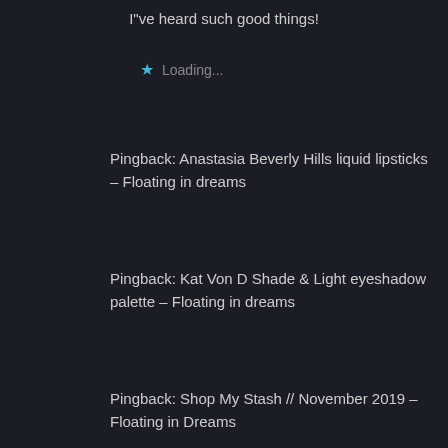I"ve heard such good things!
★ Loading...
Pingback: Anastasia Beverly Hills liquid lipsticks – Floating in dreams
Pingback: Kat Von D Shade & Light eyeshadow palette – Floating in dreams
Pingback: Shop My Stash // November 2019 – Floating in Dreams